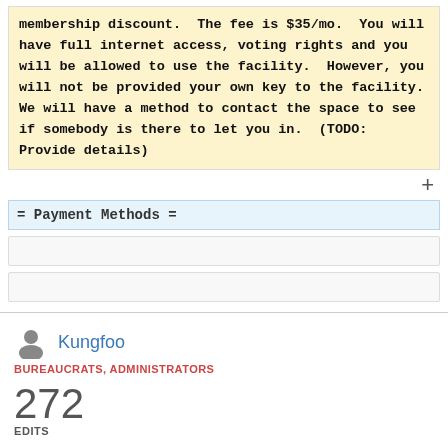membership discount.  The fee is $35/mo.  You will have full internet access, voting rights and you will be allowed to use the facility.  However, you will not be provided your own key to the facility.  We will have a method to contact the space to see if somebody is there to let you in.  (TODO: Provide details)
= Payment Methods =
Kungfoo
BUREAUCRATS, ADMINISTRATORS
272 EDITS